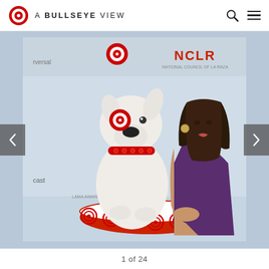A BULLSEYE VIEW
[Figure (photo): Target's mascot Bullseye (white bull terrier with red bullseye painted on eye) sitting on a red-carpeted Target-branded circular platform, posed next to a woman in a purple dress at what appears to be an NCLR awards event. Sponsor logos including Target, NCLR, Pepsi, and NBCUniversal visible on backdrop.]
1 of 24